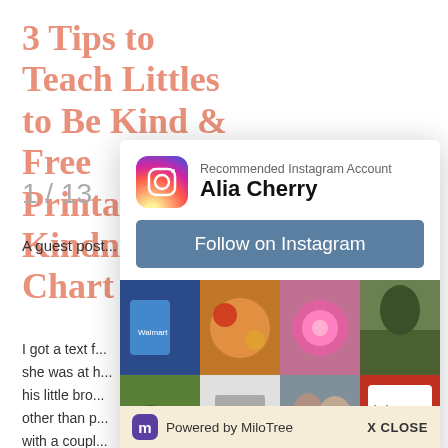3 Tips to Teach Littles to Be Kind & Free Printable Kindness Chart
1 / 13
A guest post...
I got a text f... she was at h... his little bro... other than p... with a coupl...
[Figure (screenshot): Instagram popup overlay showing 'Recommended Instagram Account: Alia Cherry' with a Follow on Instagram button and a grid of 8 Instagram photos. Below is a MiloTree footer bar with logo, 'Powered by MiloTree' text, and 'X CLOSE' button.]